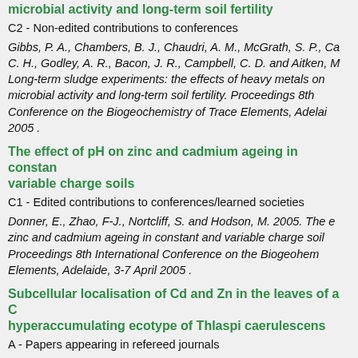microbial activity and long-term soil fertility
C2 - Non-edited contributions to conferences
Gibbs, P. A., Chambers, B. J., Chaudri, A. M., McGrath, S. P., Ca... C. H., Godley, A. R., Bacon, J. R., Campbell, C. D. and Aitken, M... Long-term sludge experiments: the effects of heavy metals on microbial activity and long-term soil fertility. Proceedings 8th Conference on the Biogeochemistry of Trace Elements, Adelai... 2005 .
The effect of pH on zinc and cadmium ageing in constan... variable charge soils
C1 - Edited contributions to conferences/learned societies
Donner, E., Zhao, F-J., Nortcliff, S. and Hodson, M. 2005. The e... zinc and cadmium ageing in constant and variable charge soil... Proceedings 8th International Conference on the Biogeohem... Elements, Adelaide, 3-7 April 2005 .
Subcellular localisation of Cd and Zn in the leaves of a C... hyperaccumulating ecotype of Thlaspi caerulescens
A - Papers appearing in refereed journals